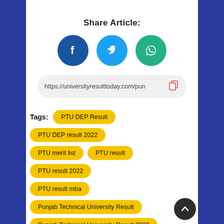Share Article:
[Figure (illustration): Three social media share buttons: Facebook (dark blue circle with 'f'), Twitter (light blue circle with bird icon), WhatsApp (green circle with chat bubble icon)]
https://universityresulttoday.com/pun
Tags:  PTU DEP Result  PTU DEP result 2022  PTU merit list  PTU result  PTU result 2022  PTU result mba  Punjab Technical University Result  Punjab Technical University Result 2022